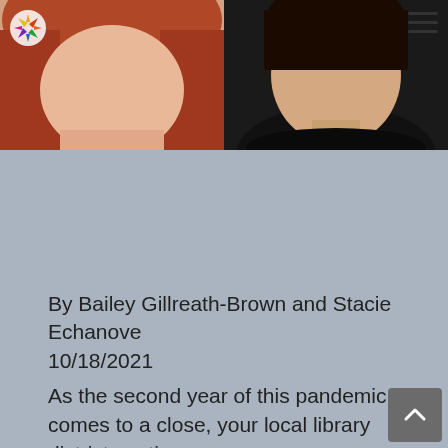[Figure (photo): Two portrait photos side by side: left shows a woman with red/auburn hair on a light background, right shows a woman in a black top on a dark background. A colorful logo appears in the top-left corner and a hamburger menu icon in the top-right.]
By Bailey Gillreath-Brown and Stacie Echanove
10/18/2021
As the second year of this pandemic comes to a close, your local library district continues